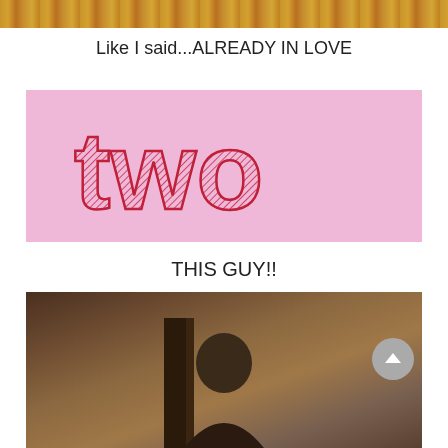[Figure (photo): Top cropped photo showing warm golden/orange tones, likely a food or nature photo]
Like I said...ALREADY IN LOVE
[Figure (illustration): Pink background banner with the word 'two' written in large red sketchy/hatched lettering]
THIS GUY!!
[Figure (photo): Bottom photo showing a person in an indoor setting with dark wooden furniture and warm beige walls. A circular scroll-up button is visible in the lower right.]